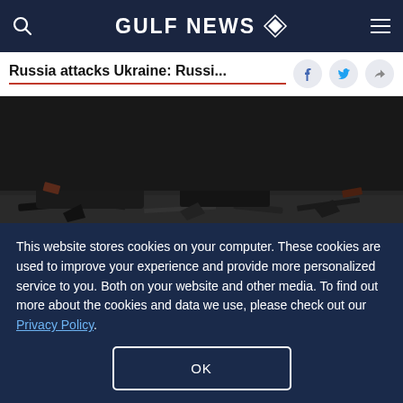GULF NEWS
Russia attacks Ukraine: Russi...
[Figure (photo): A destroyed armoured vehicle seen on a street, dark rubble and debris scattered around.]
A destroyed armoured vehicle is seen on a street .
Image Credit: Reuters
6 of 16
This website stores cookies on your computer. These cookies are used to improve your experience and provide more personalized service to you. Both on your website and other media. To find out more about the cookies and data we use, please check out our Privacy Policy.